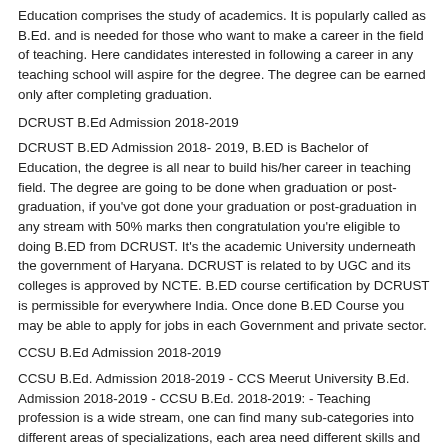Education comprises the study of academics. It is popularly called as B.Ed. and is needed for those who want to make a career in the field of teaching. Here candidates interested in following a career in any teaching school will aspire for the degree. The degree can be earned only after completing graduation.
DCRUST B.Ed Admission 2018-2019
DCRUST B.ED Admission 2018- 2019, B.ED is Bachelor of Education, the degree is all near to build his/her career in teaching field. The degree are going to be done when graduation or post-graduation, if you've got done your graduation or post-graduation in any stream with 50% marks then congratulation you're eligible to doing B.ED from DCRUST. It's the academic University underneath the government of Haryana. DCRUST is related to by UGC and its colleges is approved by NCTE. B.ED course certification by DCRUST is permissible for everywhere India. Once done B.ED Course you may be able to apply for jobs in each Government and private sector.
CCSU B.Ed Admission 2018-2019
CCSU B.Ed. Admission 2018-2019 - CCS Meerut University B.Ed. Admission 2018-2019 - CCSU B.Ed. 2018-2019: - Teaching profession is a wide stream, one can find many sub-categories into different areas of specializations, each area need different skills and training. Some of the usual areas of specialization involve teaching at